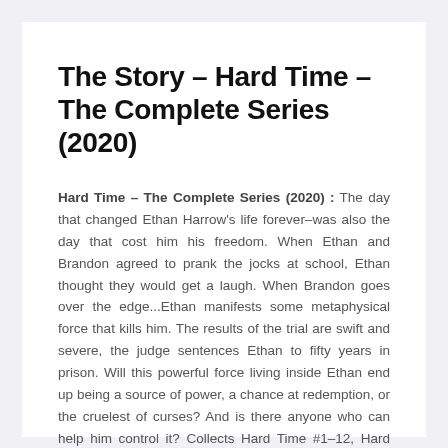The Story – Hard Time – The Complete Series (2020)
Hard Time – The Complete Series (2020) : The day that changed Ethan Harrow's life forever–was also the day that cost him his freedom. When Ethan and Brandon agreed to prank the jocks at school, Ethan thought they would get a laugh. When Brandon goes over the edge...Ethan manifests some metaphysical force that kills him. The results of the trial are swift and severe, the judge sentences Ethan to fifty years in prison. Will this powerful force living inside Ethan end up being a source of power, a chance at redemption, or the cruelest of curses? And is there anyone who can help him control it? Collects Hard Time #1–12, Hard Time: Season Two #1–7